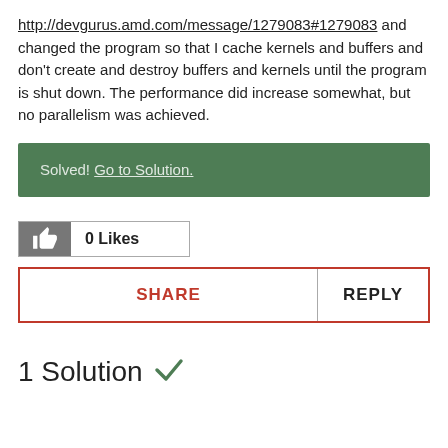http://devgurus.amd.com/message/1279083#1279083 and changed the program so that I cache kernels and buffers and don't create and destroy buffers and kernels until the program is shut down. The performance did increase somewhat, but no parallelism was achieved.
Solved! Go to Solution.
0 Likes
SHARE
REPLY
1 Solution